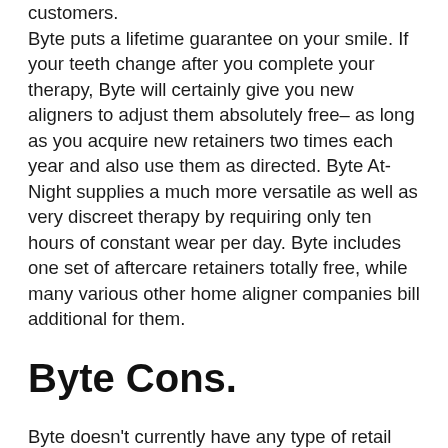customers. Byte puts a lifetime guarantee on your smile. If your teeth change after you complete your therapy, Byte will certainly give you new aligners to adjust them absolutely free– as long as you acquire new retainers two times each year and also use them as directed. Byte At-Night supplies a much more versatile as well as very discreet therapy by requiring only ten hours of constant wear per day. Byte includes one set of aftercare retainers totally free, while many various other home aligner companies bill additional for them.
Byte Cons.
Byte doesn't currently have any type of retail locations, so you'll need to order an